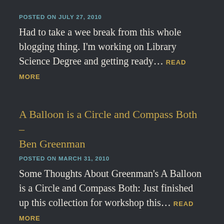POSTED ON JULY 27, 2010
Had to take a wee break from this whole blogging thing. I'm working on Library Science Degree and getting ready… READ MORE
A Balloon is a Circle and Compass Both – Ben Greenman
POSTED ON MARCH 31, 2010
Some Thoughts About Greenman's A Balloon is a Circle and Compass Both: Just finished up this collection for workshop this… READ MORE